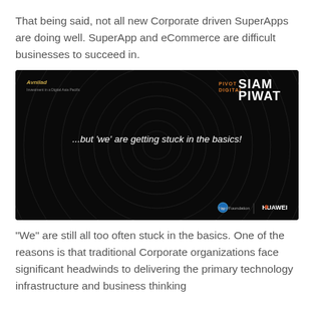That being said, not all new Corporate driven SuperApps are doing well. SuperApp and eCommerce are difficult businesses to succeed in.
[Figure (screenshot): Dark presentation slide with concentric circle pattern background. Top-left shows a logo with text. Top-right shows 'PIVOT DIGITAL' in orange and 'SIAM PIWAT' in white bold text. Center text reads '...but ‘we’ are getting stuck in the basics!' in white italic font. Bottom-right shows 'Next Foundation' and 'HUAWEI' logos.]
“We” are still all too often stuck in the basics. One of the reasons is that traditional Corporate organizations face significant headwinds to delivering the primary technology infrastructure and business thinking